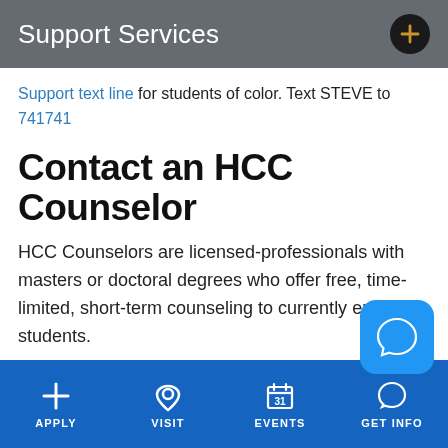Support Services
Support text line for students of color. Text STEVE to 741741
Contact an HCC Counselor
HCC Counselors are licensed-professionals with masters or doctoral degrees who offer free, time-limited, short-term counseling to currently enrolled students.
Contact a counselor to schedule an appointment...
APPLY  VISIT  EVENTS  GET INFO